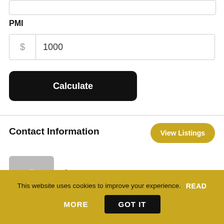PMI
$ 1000
Calculate
Contact Information
View Listings
Alexandra Fares  +961 1 488 044  +961 76 371 372
This website uses cookies to improve your experience.  READ MORE  GOT IT